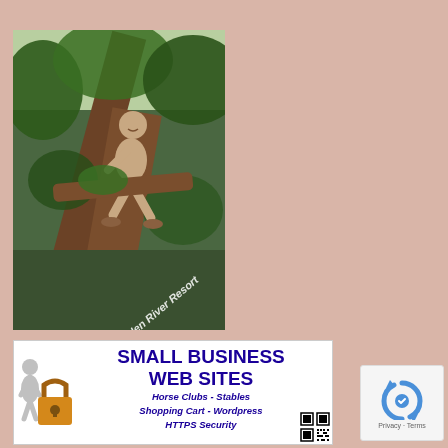[Figure (photo): Person sitting on a large tree branch in a forest setting, with text watermark 'Hidden River Resort' in the lower portion of the image]
[Figure (infographic): Small Business Web Sites advertisement banner with lock icon and figure, text: SMALL BUSINESS WEB SITES, Horse Clubs - Stables, Shopping Cart - Wordpress, HTTPS Security, with QR code]
[Figure (other): reCAPTCHA widget with blue circular arrows icon and Privacy - Terms text]